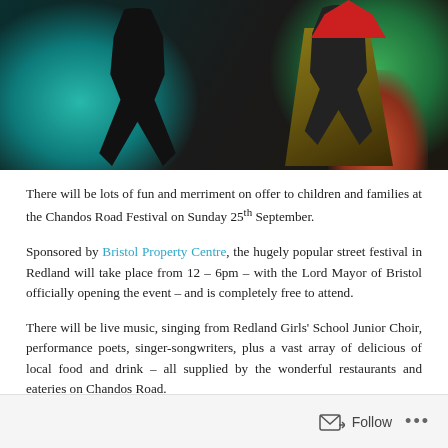[Figure (photo): Festival photo showing two costumed/silhouetted figures against a colorful painted background with teal, green, and red colors.]
There will be lots of fun and merriment on offer to children and families at the Chandos Road Festival on Sunday 25th September.
Sponsored by Bristol Property Centre, the hugely popular street festival in Redland will take place from 12 – 6pm – with the Lord Mayor of Bristol officially opening the event – and is completely free to attend.
There will be live music, singing from Redland Girls' School Junior Choir, performance poets, singer-songwriters, plus a vast array of delicious of local food and drink – all supplied by the wonderful restaurants and eateries on Chandos Road.
Follow